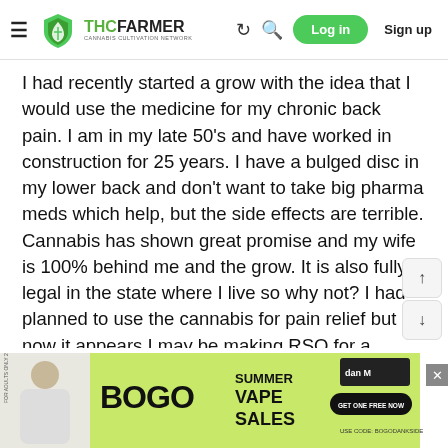THCFarmer - Cannabis Cultivation Network | Log in | Sign up
I had recently started a grow with the idea that I would use the medicine for my chronic back pain. I am in my late 50's and have worked in construction for 25 years. I have a bulged disc in my lower back and don't want to take big pharma meds which help, but the side effects are terrible. Cannabis has shown great promise and my wife is 100% behind me and the grow. It is also fully legal in the state where I live so why not? I had planned to use the cannabis for pain relief but now it appears I may be making RSO for a possible cancer treatment. I have looked at the symptoms of throat cancer and I have many of them including a lump in my neck I recently found.
[Figure (screenshot): Advertisement banner: BOGO SUMMER VAPE SALES with a person and brand logo]